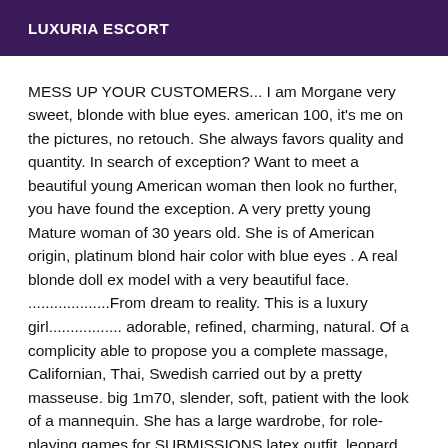LUXURIA ESCORT
MESS UP YOUR CUSTOMERS... I am Morgane very sweet, blonde with blue eyes. american 100, it's me on the pictures, no retouch. She always favors quality and quantity. In search of exception? Want to meet a beautiful young American woman then look no further, you have found the exception. A very pretty young Mature woman of 30 years old. She is of American origin, platinum blond hair color with blue eyes . A real blonde doll ex model with a very beautiful face. ...................From dream to reality. This is a luxury girl................. adorable, refined, charming, natural. Of a complicity able to propose you a complete massage, Californian, Thai, Swedish carried out by a pretty masseuse. big 1m70, slender, soft, patient with the look of a mannequin. She has a large wardrobe, for role-playing games for SUBMISSIONS latex outfit, leopard dress. School dress, secretary, of nurse She also has beautiful shoes, leather boots. know that she receives